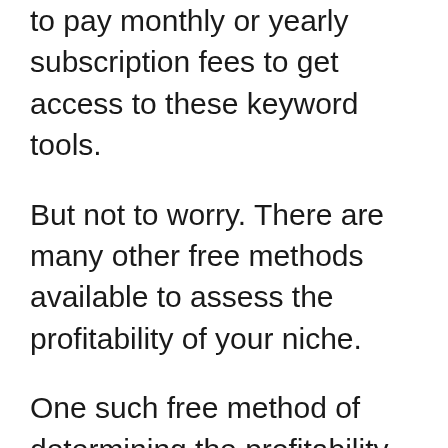to pay monthly or yearly subscription fees to get access to these keyword tools.
But not to worry. There are many other free methods available to assess the profitability of your niche.
One such free method of determining the profitability or the money-making potential of your niche is by searching for affiliate programs in the niche.
You can use the affiliate platforms like Amazon.com, Clickbank.com, Shareasale.com etc. to find affiliate